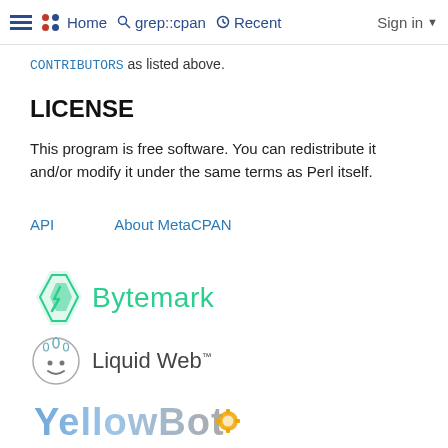≡  Home  grep::cpan  Recent  Sign in
CONTRIBUTORS as listed above.
LICENSE
This program is free software. You can redistribute it and/or modify it under the same terms as Perl itself.
API    About MetaCPAN
[Figure (logo): Bytemark logo: green diamond/bolt icon followed by 'Bytemark' in green text]
[Figure (logo): Liquid Web logo: circular face icon followed by 'Liquid Web' text with trademark symbol]
[Figure (logo): YellowBot logo: stylized text 'YellowBot' in blue/yellow gradient with gear icon]